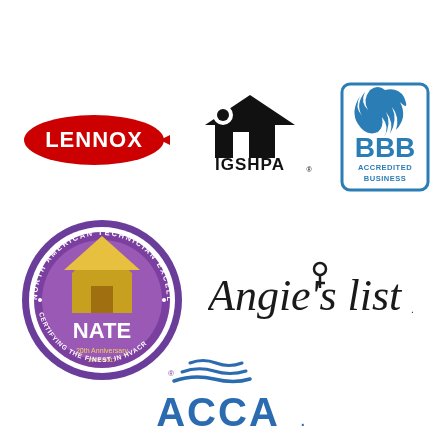[Figure (logo): Lennox brand logo in red with swoosh]
[Figure (logo): IGSHPA logo - black house/key icon above IGSHPA text]
[Figure (logo): BBB Accredited Business logo in blue]
[Figure (logo): NATE North American Technician Excellence circular badge logo - 20th Anniversary, purple and gold, certifying the finest in HVACR]
[Figure (logo): Angie's list logo in dark text with key symbol]
[Figure (logo): ACCA logo in blue with wave design above letters]